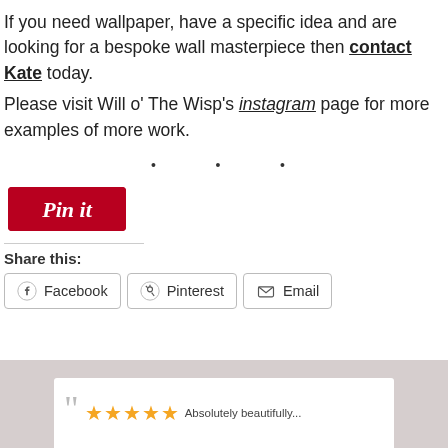If you need wallpaper, have a specific idea and are looking for a bespoke wall masterpiece then contact Kate today.
Please visit Will o' The Wisp's instagram page for more examples of more work.
• • •
[Figure (other): Pinterest 'Pin it' button — red rounded rectangle with white italic script text reading 'Pin it']
Share this:
[Figure (other): Social share buttons: Facebook, Pinterest, Email — each with icon and label, bordered rectangles]
[Figure (other): Review section: grey background with white card showing quotation mark, 5 gold stars, and partial review text starting 'Absolutely beautifully...']